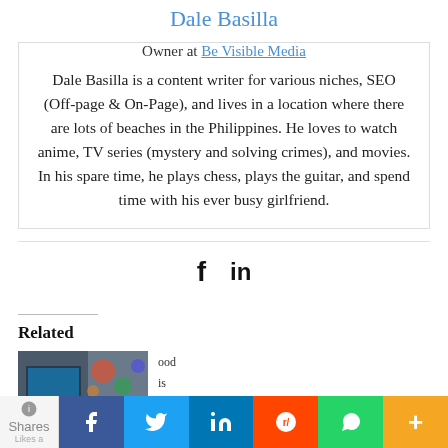Dale Basilla
Owner at Be Visible Media
Dale Basilla is a content writer for various niches, SEO (Off-page & On-Page), and lives in a location where there are lots of beaches in the Philippines. He loves to watch anime, TV series (mystery and solving crimes), and movies. In his spare time, he plays chess, plays the guitar, and spend time with his ever busy girlfriend.
[Figure (infographic): Social media share icons: Facebook (f) and LinkedIn (in)]
Related
[Figure (photo): Photo of a person using a laptop with colorful bokeh lights in the background]
ood
is
r tonight easy
ooked meals
Shares | f | tw | in | reddit | whatsapp | +